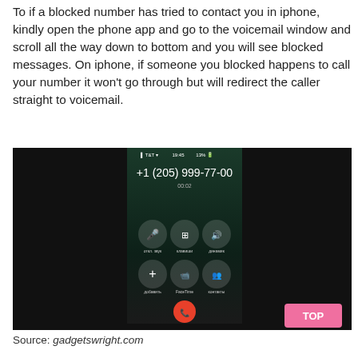To if a blocked number has tried to contact you in iphone, kindly open the phone app and go to the voicemail window and scroll all the way down to bottom and you will see blocked messages. On iphone, if someone you blocked happens to call your number it won't go through but will redirect the caller straight to voicemail.
[Figure (screenshot): Screenshot of an iPhone call screen showing an active call with number +1 (205) 999-77-00, call duration 00:02, with in-call options (mute, keypad, speaker, add call, FaceTime, contacts) and a red end-call button at the bottom. The screen appears to be from a Russian-localized iOS. There is a pink 'TOP' button in the bottom-right corner of the image.]
Source: gadgetswright.com